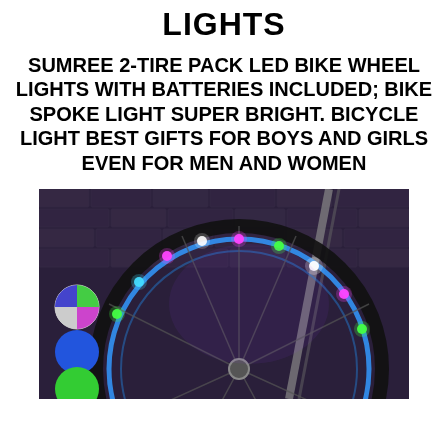LIGHTS
SUMREE 2-TIRE PACK LED BIKE WHEEL LIGHTS WITH BATTERIES INCLUDED; BIKE SPOKE LIGHT SUPER BRIGHT. BICYCLE LIGHT BEST GIFTS FOR BOYS AND GIRLS EVEN FOR MEN AND WOMEN
[Figure (photo): Photo of a bicycle wheel with colorful LED spoke lights illuminated (green, blue, pink/purple), with color swatch circles (multicolor, blue, green) on the left side, against a brick wall background]